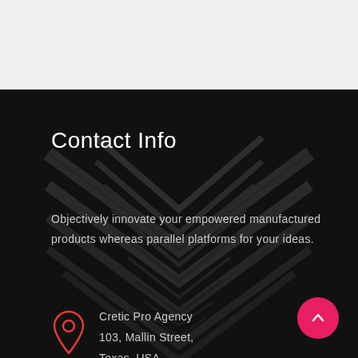Contact Info
Objectively innovate your empowered manufactured products whereas parallel platforms for your ideas.
Cretic Pro Agency
103, Mallin Street,
Texas, USA